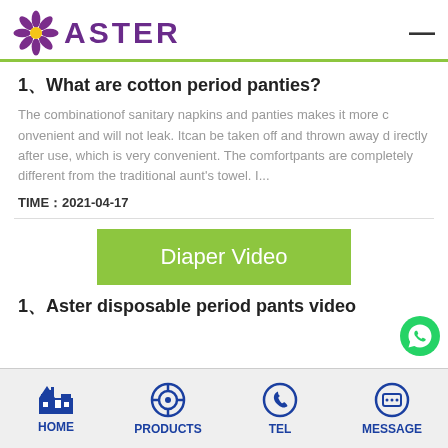ASTER
1、What are cotton period panties?
The combinationof sanitary napkins and panties makes it more convenient and will not leak. Itcan be taken off and thrown away directly after use, which is very convenient. The comfortpants are completely different from the traditional aunt's towel. I...
TIME：2021-04-17
[Figure (other): Green 'Diaper Video' button]
1、Aster disposable period pants video
HOME  PRODUCTS  TEL  MESSAGE